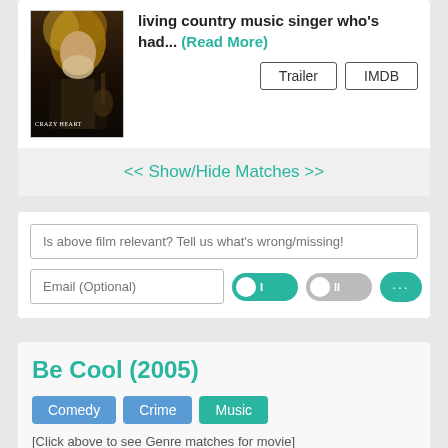living country music singer who's had... (Read More)
Trailer  IMDB
<< Show/Hide Matches >>
Is above film relevant? Tell us what's wrong/missing!
Email (Optional)
Be Cool (2005)
Comedy  Crime  Music
[Click above to see Genre matches for movie]
Streetwise mobster-turned-movie